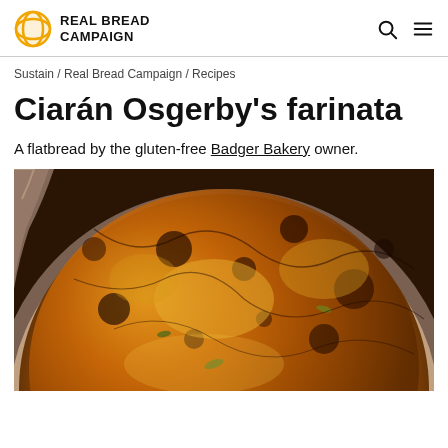REAL BREAD CAMPAIGN
Sustain / Real Bread Campaign / Recipes
Ciarán Osgerby's farinata
A flatbread by the gluten-free Badger Bakery owner.
[Figure (photo): Close-up photo of farinata (chickpea flatbread) in a round metal pan, golden-brown and crispy on top with some green herbs visible]